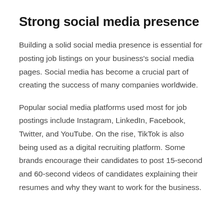Strong social media presence
Building a solid social media presence is essential for posting job listings on your business's social media pages. Social media has become a crucial part of creating the success of many companies worldwide.
Popular social media platforms used most for job postings include Instagram, LinkedIn, Facebook, Twitter, and YouTube. On the rise, TikTok is also being used as a digital recruiting platform. Some brands encourage their candidates to post 15-second and 60-second videos of candidates explaining their resumes and why they want to work for the business.